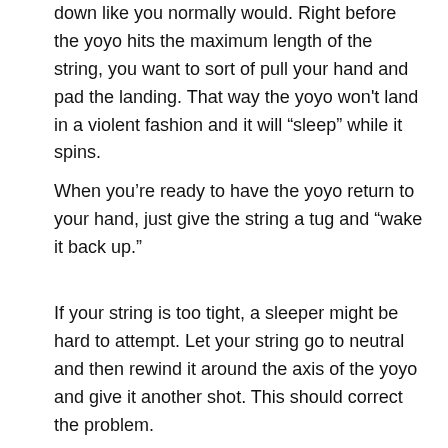down like you normally would. Right before the yoyo hits the maximum length of the string, you want to sort of pull your hand and pad the landing. That way the yoyo won't land in a violent fashion and it will "sleep" while it spins.
When you're ready to have the yoyo return to your hand, just give the string a tug and "wake it back up."
If your string is too tight, a sleeper might be hard to attempt. Let your string go to neutral and then rewind it around the axis of the yoyo and give it another shot. This should correct the problem.